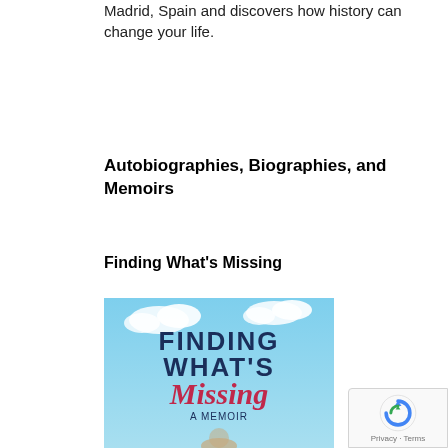Madrid, Spain and discovers how history can change your life.
Autobiographies, Biographies, and Memoirs
Finding What's Missing
[Figure (photo): Book cover for 'Finding What's Missing: A Memoir' showing a light blue sky with clouds background, the title text in large letters with 'Missing' in cursive pink/red script, subtitle 'A Memoir' in smaller text, and a partial view of a person at the bottom]